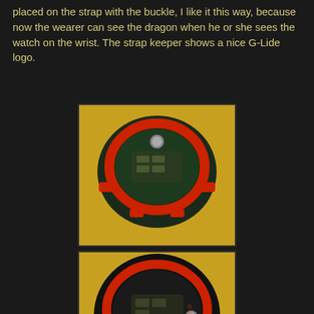placed on the strap with the buckle, I like it this way, because now the wearer can see the dragon when he or she sees the watch on the wrist. The strap keeper shows a nice G-Lide logo.
[Figure (photo): Close-up photo of a G-Shock G-Lide watch face/top view, black and dark green casing with red accents and buttons, yellow background, digital display visible]
[Figure (photo): Close-up photo of a G-Shock G-Lide watch from a different angle, black casing with red accents, yellow background, digital display visible from side]